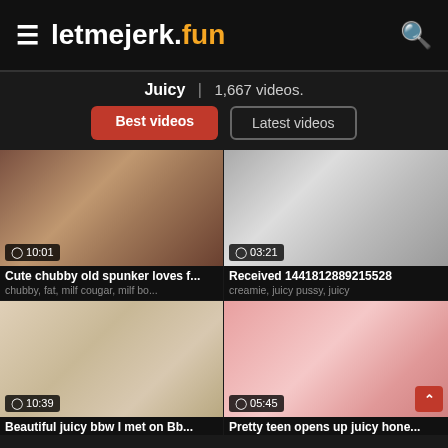≡ letmejerk.fun 🔍
Juicy | 1,667 videos.
Best videos | Latest videos
[Figure (screenshot): Video thumbnail showing a woman at a desk, duration 10:01]
Cute chubby old spunker loves f...
chubby, fat, milf cougar, milf bo...
[Figure (screenshot): Close-up video thumbnail, duration 03:21]
Received 1441812889215528
creamie, juicy pussy, juicy
[Figure (screenshot): Video thumbnail showing a woman bending over, duration 10:39]
Beautiful juicy bbw I met on Bb...
[Figure (screenshot): Close-up video thumbnail with red nails, duration 05:45]
Pretty teen opens up juicy hone...